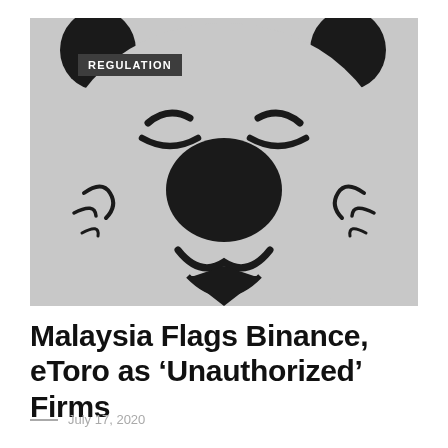[Figure (illustration): Grayscale illustration of a cartoon bear face (Winnie-the-Pooh style) with closed happy eyes, large black round nose, small ears at top, visible chin/mouth area, on a light gray background. A dark badge labeled REGULATION is overlaid in the top-left corner of the image.]
Malaysia Flags Binance, eToro as ‘Unauthorized’ Firms
July 17, 2020